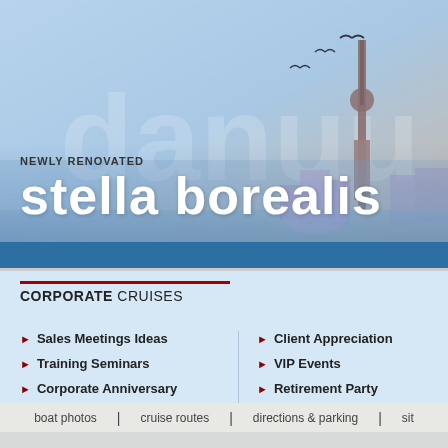[Figure (illustration): Hero banner showing Toronto skyline at dusk with CN Tower, birds in sky, blended blue/warm tones. Large white text 'stella borealis' with subtitle 'NEWLY RENOVATED' above it.]
NEWLY RENOVATED
stella borealis
CORPORATE CRUISES
Sales Meetings Ideas
Training Seminars
Corporate Anniversary
Client Appreciation
VIP Events
Retirement Party
Tea...
Corp...
boat photos | cruise routes | directions & parking | sit...